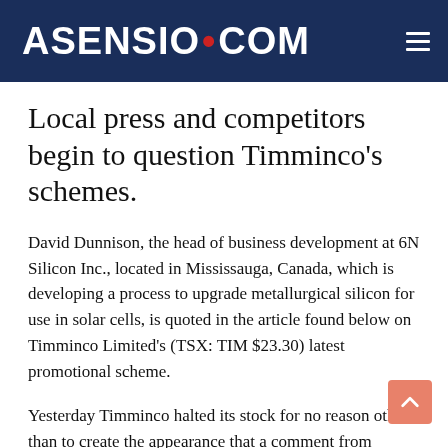ASENSIO•COM
Local press and competitors begin to question Timminco's schemes.
David Dunnison, the head of business development at 6N Silicon Inc., located in Mississauga, Canada, which is developing a process to upgrade metallurgical silicon for use in solar cells, is quoted in the article found below on Timminco Limited's (TSX: TIM $23.30) latest promotional scheme.
Yesterday Timminco halted its stock for no reason other than to create the appearance that a comment from Michael Rogal of Photon Consulting was